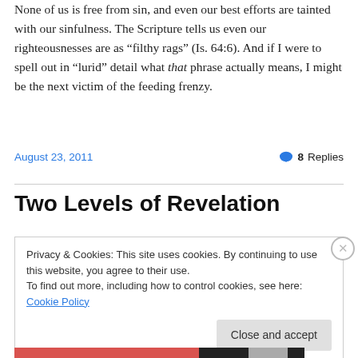None of us is free from sin, and even our best efforts are tainted with our sinfulness. The Scripture tells us even our righteousnesses are as “filthy rags” (Is. 64:6). And if I were to spell out in “lurid” detail what that phrase actually means, I might be the next victim of the feeding frenzy.
August 23, 2011
8 Replies
Two Levels of Revelation
Privacy & Cookies: This site uses cookies. By continuing to use this website, you agree to their use.
To find out more, including how to control cookies, see here: Cookie Policy
Close and accept